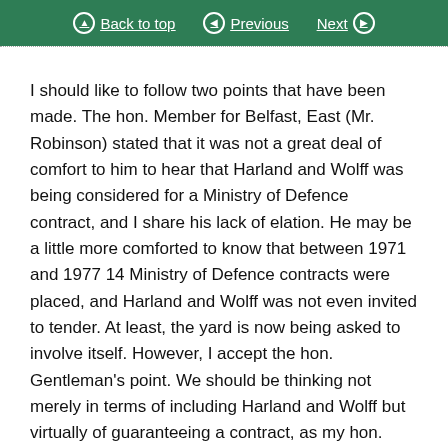Back to top | Previous | Next
I should like to follow two points that have been made. The hon. Member for Belfast, East (Mr. Robinson) stated that it was not a great deal of comfort to him to hear that Harland and Wolff was being considered for a Ministry of Defence contract, and I share his lack of elation. He may be a little more comforted to know that between 1971 and 1977 14 Ministry of Defence contracts were placed, and Harland and Wolff was not even invited to tender. At least, the yard is now being asked to involve itself. However, I accept the hon. Gentleman's point. We should be thinking not merely in terms of including Harland and Wolff but virtually of guaranteeing a contract, as my hon. Friend the Member for Armagh (Mr. McCusker) inferred.